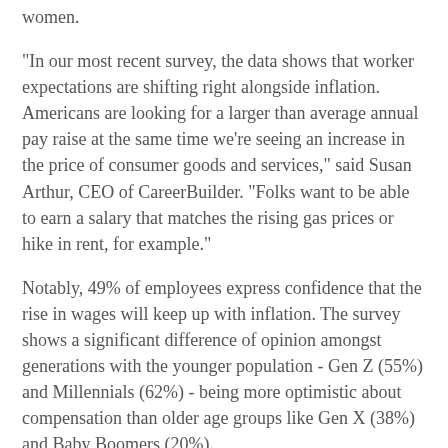women.
"In our most recent survey, the data shows that worker expectations are shifting right alongside inflation. Americans are looking for a larger than average annual pay raise at the same time we're seeing an increase in the price of consumer goods and services," said Susan Arthur, CEO of CareerBuilder. "Folks want to be able to earn a salary that matches the rising gas prices or hike in rent, for example."
Notably, 49% of employees express confidence that the rise in wages will keep up with inflation. The survey shows a significant difference of opinion amongst generations with the younger population - Gen Z (55%) and Millennials (62%) - being more optimistic about compensation than older age groups like Gen X (38%) and Baby Boomers (20%).
This survey was conducted by The Harris Poll on behalf of CareerBuilder. For more information on CareerBuilder, visit